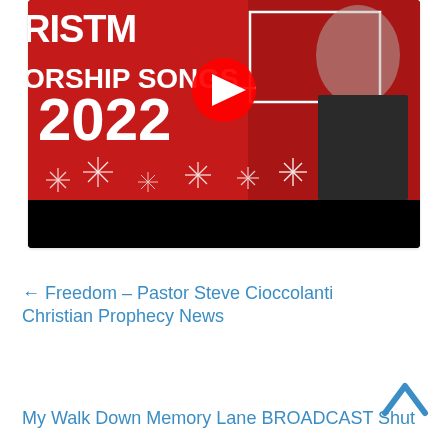[Figure (screenshot): YouTube video thumbnail showing 'CHRISTMAS WORSHIP SONGS 2022' text on a red background with snowflake decorations and a man in a dark shirt, with YouTube play button overlay. Bottom portion is black.]
← Freedom – Pastor Steve Cioccolanti Christian Prophecy News
My Walk Down Memory Lane BROADCAST Shut
[Figure (other): Upward-pointing caret/chevron arrow in blue, used as a scroll-to-top button]